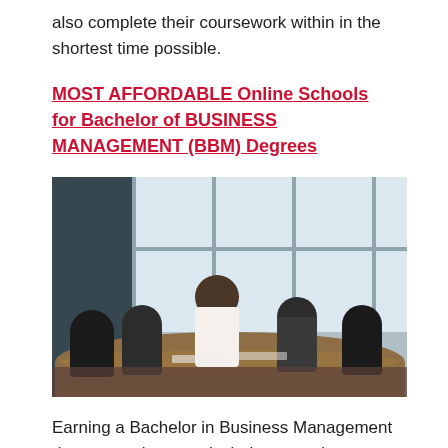also complete their coursework within in the shortest time possible.
MOST AFFORDABLE Online Schools for Bachelor of BUSINESS MANAGEMENT (BBM) Degrees
[Figure (photo): A business meeting scene showing a group of people sitting around a conference table, with one person appearing to lead the discussion.]
Earning a Bachelor in Business Management degree can be a particularly expensive endeavor among all degree choices, even obtained via an online school. Some students cannot shoulder the burden of excessive [redacted] ent loans and high tuition rates.